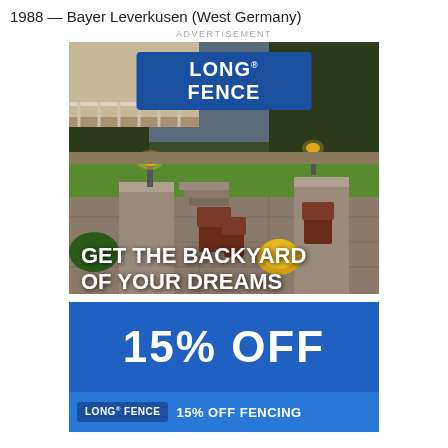1988 — Bayer Leverkusen (West Germany)
ADVERTISEMENT
[Figure (illustration): Long Fence advertisement showing a backyard patio scene with stone walls, Adirondack chairs, outdoor lighting, and yellow flowers. Contains the Long Fence logo, tagline 'GET THE BACKYARD OF YOUR DREAMS', '15% OFF' promotion, and 'LONG FENCE | 15% OFF FENCING' banner at the bottom.]